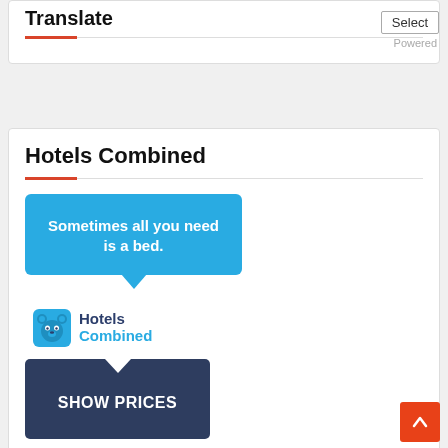Translate
Hotels Combined
[Figure (illustration): Blue speech bubble with white bold text reading 'Sometimes all you need is a bed.']
[Figure (logo): HotelsCombined logo with blue bear icon and text 'Hotels Combined']
[Figure (illustration): Dark navy button with notch at top and white bold text 'SHOW PRICES']